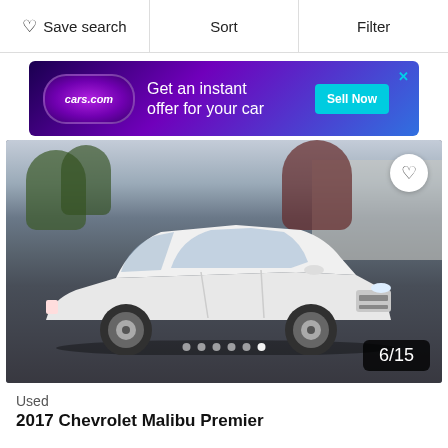♡ Save search | Sort | Filter
[Figure (screenshot): cars.com advertisement banner: purple/blue gradient background, cars.com logo oval, text 'Get an instant offer for your car', cyan 'Sell Now' button, X close button]
[Figure (photo): Photo 6 of 15 of a white Chevrolet Malibu Premier sedan in a dealer lot, with trees and dealership building in background. Heart/favorite button top right. Dot navigation and 6/15 counter at bottom.]
Used
2017 Chevrolet Malibu Premier